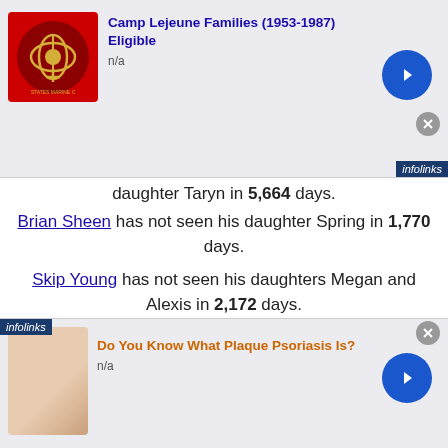[Figure (screenshot): Top advertisement banner: US Marines logo (red background with eagle globe anchor emblem), title 'Camp Lejeune Families (1953-1987) Eligible', subtitle 'n/a', blue arrow button, gray close button, infolinks badge]
daughter Taryn in 5,664 days.
Brian Sheen has not seen his daughter Spring in 1,770 days.
Skip Young has not seen his daughters Megan and Alexis in 2,172 days.
Mary Kahn has not seen her son Sammy in 2,044 days.
Lois Reisdorf has not seen her son Craig in 1,627 days.
Phil and Willie Jones have not seen their son Mike and daughter Emily in 2,122 days.
[Figure (screenshot): Bottom advertisement banner: skin/hand photo, title 'Do You Know What Plaque Psoriasis Is?', subtitle 'n/a', blue arrow button, gray close button, infolinks badge]